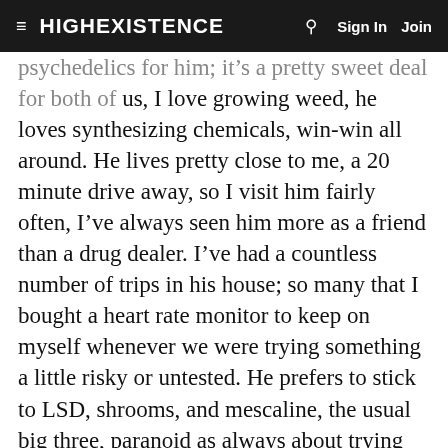≡  HIGHEXISTENCE   🔍   Sign In   Join
psychedelics for him; it's a pretty sweet deal for both of us, I love growing weed, he loves synthesizing chemicals, win-win all around. He lives pretty close to me, a 20 minute drive away, so I visit him fairly often, I've always seen him more as a friend than a drug dealer. I've had a countless number of trips in his house; so many that I bought a heart rate monitor to keep on myself whenever we were trying something a little risky or untested. He prefers to stick to LSD, shrooms, and mescaline, the usual big three, paranoid as always about trying research chemicals. But I've always found a certain allure in having experiences that many people will never even get the opportunity to experience… But on this occasion, among many, I was nervous. I was going to go to a part of the DMT "alien data-space" as McKenna called it, that few, if any